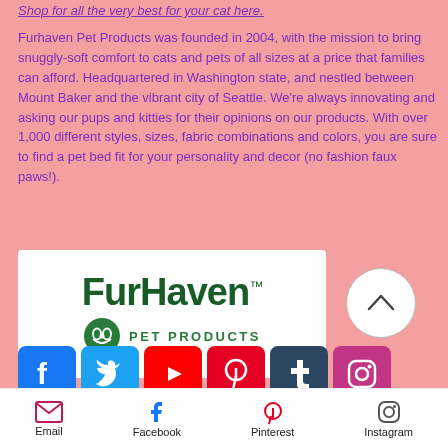Shop for all the very best for your cat here.
Furhaven Pet Products was founded in 2004, with the mission to bring snuggly-soft comfort to cats and pets of all sizes at a price that families can afford. Headquartered in Washington state, and nestled between Mount Baker and the vibrant city of Seattle. We're always innovating and asking our pups and kitties for their opinions on our products. With over 1,000 different styles, sizes, fabric combinations and colors, you are sure to find a pet bed fit for your personality and decor (no fashion faux paws!).
[Figure (logo): FurHaven Pet Products logo - green text on white background with circular green icon]
[Figure (infographic): Social media icons row: Facebook, Twitter, YouTube, Pinterest, Tumblr, Instagram]
Email  Facebook  Pinterest  Instagram